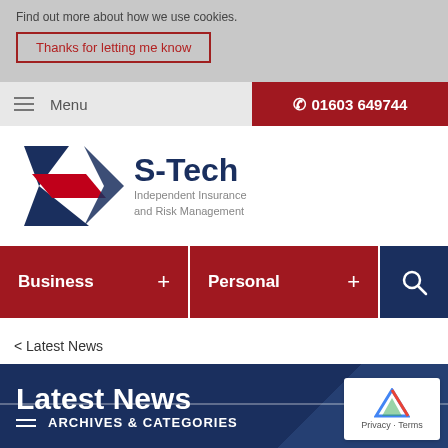Find out more about how we use cookies.
Thanks for letting me know
Menu   01603 649744
[Figure (logo): S-Tech Independent Insurance and Risk Management logo with triangular blue and red geometric mark]
Business +   Personal +   [search icon]
< Latest News
Latest News
ARCHIVES & CATEGORIES